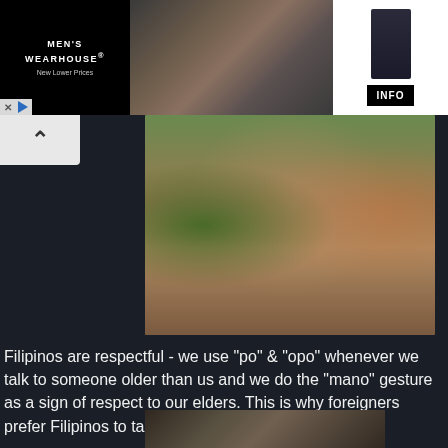[Figure (photo): Men's Wearhouse advertisement banner showing a couple in formal wear, a man in a suit, and an INFO button]
[Figure (photo): Photo of a Western man doing the mano gesture with Filipino children watching]
Filipinos are respectful - we use "po" & "opo" whenever we talk to someone older than us and we do the "mano" gesture as a sign of respect to our elders. This is why foreigners prefer Filipinos to take care of them.
[Figure (photo): Partial photo at bottom showing elderly person and child]